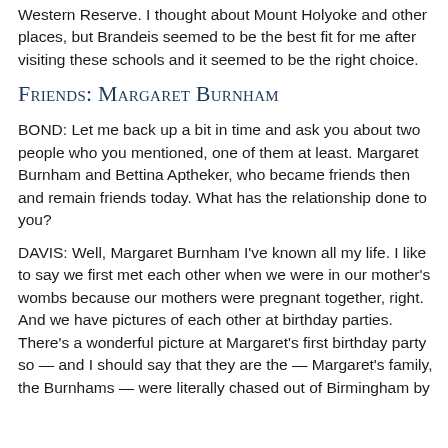Western Reserve. I thought about Mount Holyoke and other places, but Brandeis seemed to be the best fit for me after visiting these schools and it seemed to be the right choice.
Friends: Margaret Burnham
BOND: Let me back up a bit in time and ask you about two people who you mentioned, one of them at least. Margaret Burnham and Bettina Aptheker, who became friends then and remain friends today. What has the relationship done to you?
DAVIS: Well, Margaret Burnham I've known all my life. I like to say we first met each other when we were in our mother's wombs because our mothers were pregnant together, right. And we have pictures of each other at birthday parties. There's a wonderful picture at Margaret's first birthday party so — and I should say that they are the — Margaret's family, the Burnhams — were literally chased out of Birmingham by